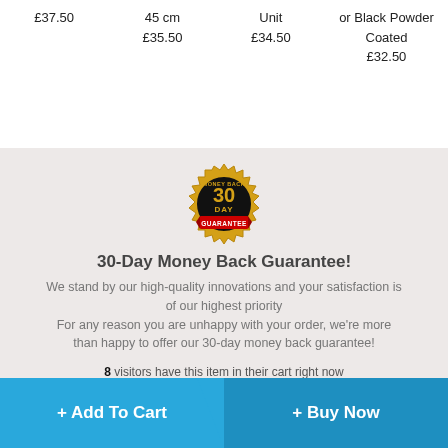£37.50
45 cm
£35.50
Unit
£34.50
or Black Powder Coated
£32.50
[Figure (illustration): 30 Day Money Back Guarantee badge — a gold serrated-edge seal with black center circle, text 'MONEY BACK' at top, '30 DAY' in large gold text, 'GUARANTEE' on a red ribbon banner]
30-Day Money Back Guarantee!
We stand by our high-quality innovations and your satisfaction is of our highest priority
For any reason you are unhappy with your order, we're more than happy to offer our 30-day money back guarantee!
8 visitors have this item in their cart right now
+ Add To Cart
+ Buy Now